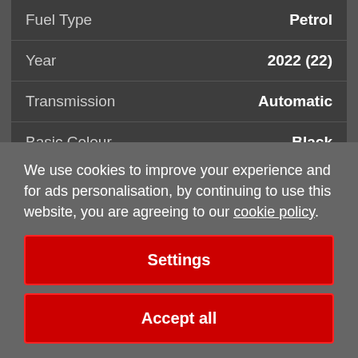| Attribute | Value |
| --- | --- |
| Fuel Type | Petrol |
| Year | 2022 (22) |
| Transmission | Automatic |
| Basic Colour | Black |
| Body Type | SUV |
We use cookies to improve your experience and for ads personalisation, by continuing to use this website, you are agreeing to our cookie policy.